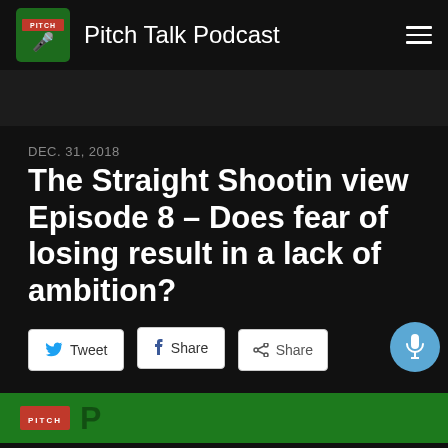Pitch Talk Podcast
DEC. 31, 2018
The Straight Shootin view Episode 8 – Does fear of losing result in a lack of ambition?
[Figure (screenshot): Share buttons row: Tweet (Twitter), Share (Facebook), Share (generic), and a microphone floating action button]
[Figure (photo): Bottom strip showing green Pitch Talk Podcast banner/logo area]